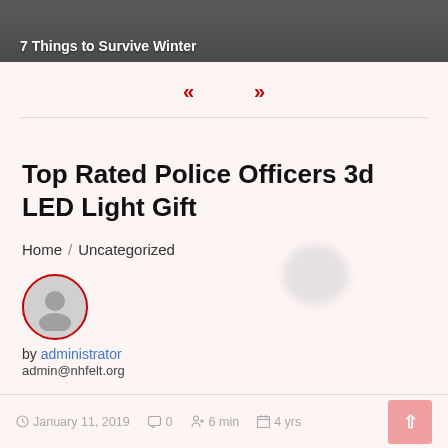[Figure (photo): Top banner image strip with dark grey/brown background showing partial image and text '7 Things to Survive Winter']
« »
Top Rated Police Officers 3d LED Light Gift
Home / Uncategorized
[Figure (illustration): Circular author avatar icon with red border showing grey silhouette of a person]
by administrator
admin@nhfelt.org
January 11, 2019   0   6 min   4 yrs